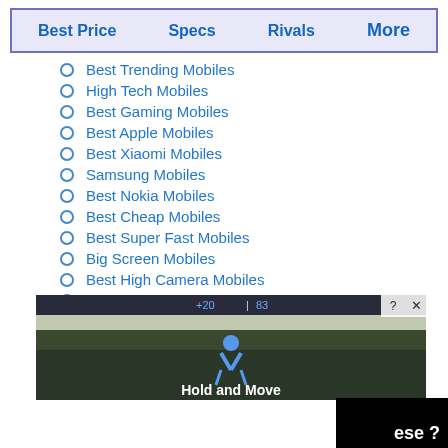Best Price   Specs   Rivals   More
Best Trending Mobiles
High Tech Mobiles
Best Gaming Mobiles
Best Apple Mobiles
Best Xiaomi Mobiles
Samsung Mobiles
Best Nokia Mobiles
Best Cheap Mobiles
Best Super Fast Mobiles
Big Screen Mobiles
Best High Camera Mobiles
Best Android Mobiles
Best IOS Fast Mobiles
Best Sports Mobiles
Best Smart Watches
[Figure (screenshot): Advertisement banner showing a winter outdoor scene with trees and text 'Hold and Move', with close (X) and info (?) buttons]